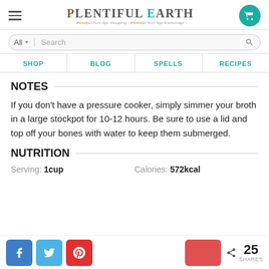Plentiful Earth — Plentiful New Age Shopping | Plentiful New Age Knowledge
NOTES
If you don't have a pressure cooker, simply simmer your broth in a large stockpot for 10-12 hours. Be sure to use a lid and top off your bones with water to keep them submerged.
NUTRITION
Serving: 1cup   Calories: 572kcal
< 25 SHARES